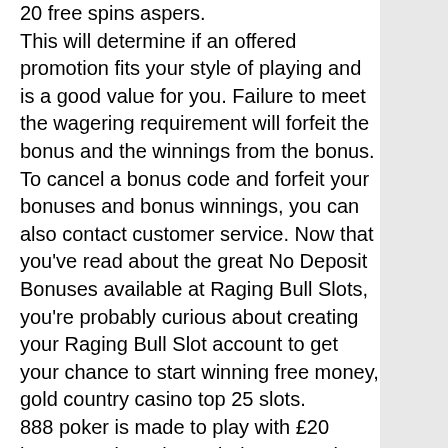20 free spins aspers. This will determine if an offered promotion fits your style of playing and is a good value for you. Failure to meet the wagering requirement will forfeit the bonus and the winnings from the bonus. To cancel a bonus code and forfeit your bonuses and bonus winnings, you can also contact customer service. Now that you've read about the great No Deposit Bonuses available at Raging Bull Slots, you're probably curious about creating your Raging Bull Slot account to get your chance to start winning free money, gold country casino top 25 slots. 888 poker is made to play with £20 bonus no deposit needed, t&amp;cs apply. Play online poker with access to the widest variety of poker games – join now. 160 free spins after first deposit (20 per day). Com/slots/netent/ which do not carry a dynamic prize. 20 totally free spins. #20 of 25 casinos &amp; gambling in london. Deposit £20 and then go